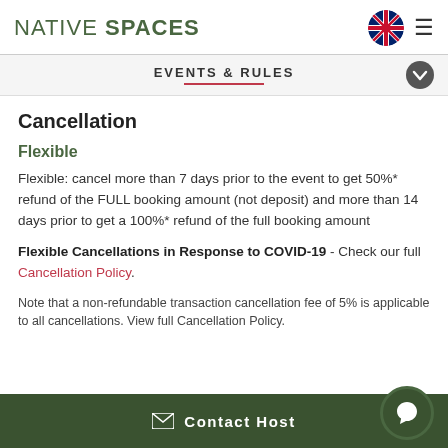NATIVE SPACES
EVENTS & RULES
Cancellation
Flexible
Flexible: cancel more than 7 days prior to the event to get 50%* refund of the FULL booking amount (not deposit) and more than 14 days prior to get a 100%* refund of the full booking amount
Flexible Cancellations in Response to COVID-19 - Check our full Cancellation Policy.
Note that a non-refundable transaction cancellation fee of 5% is applicable to all cancellations. View full Cancellation Policy.
Contact Host